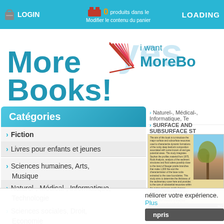LOGIN | 0 produits dans le panier | LOADING | Modifier le contenu du panier
[Figure (logo): MoreBooks! logo with blue text and red/pink chevron icon]
i want MoreBo
Catégories
Fiction
Livres pour enfants et jeunes
Sciences humaines, Arts, Musique
Naturel-, Médical-, Informatique, Technologie
Sciences sociales, Droit, Economie
École et Apprentissage
Livre spécialisé
Voyage
Naturel-, Médical-, Informatique, Te
SURFACE AND SUBSURFACE ST
[Figure (photo): Book cover preview showing desert landscape and author photo, with text about surface and subsurface study]
néliorer votre expérience. Plus
npris